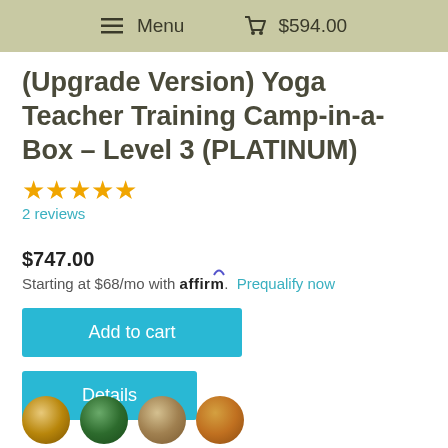Menu  $594.00
(Upgrade Version) Yoga Teacher Training Camp-in-a-Box – Level 3 (PLATINUM)
★★★★★ 2 reviews
$747.00
Starting at $68/mo with affirm. Prequalify now
Add to cart
Details
[Figure (photo): Four circular thumbnail images showing beaded or spherical product items in gold, green, sand, and amber colors]